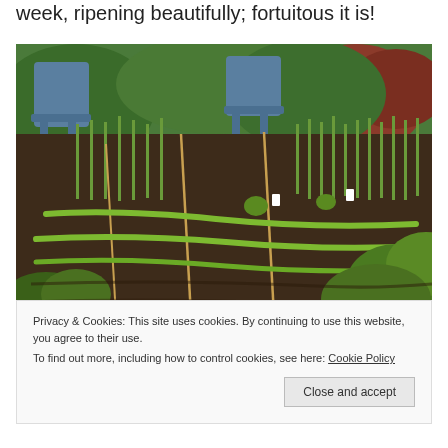week, ripening beautifully; fortuitous it is!
[Figure (photo): A vegetable garden with rows of green seedlings (lettuce, onions, and other plants) growing in dark soil. Two blue plastic chairs are visible in the background along with green and red-leafed shrubs.]
Privacy & Cookies: This site uses cookies. By continuing to use this website, you agree to their use.
To find out more, including how to control cookies, see here: Cookie Policy
Close and accept